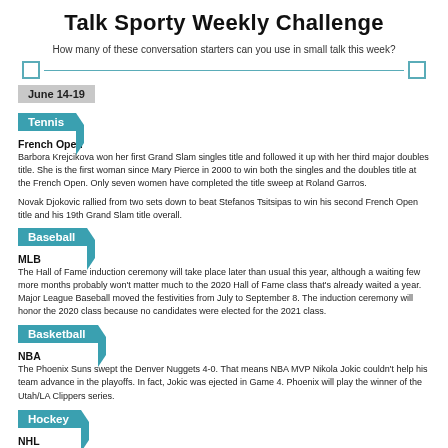Talk Sporty Weekly Challenge
How many of these conversation starters can you use in small talk this week?
June 14-19
Tennis
French Open
Barbora Krejcikova won her first Grand Slam singles title and followed it up with her third major doubles title. She is the first woman since Mary Pierce in 2000 to win both the singles and the doubles title at the French Open. Only seven women have completed the title sweep at Roland Garros.
Novak Djokovic rallied from two sets down to beat Stefanos Tsitsipas to win his second French Open title and his 19th Grand Slam title overall.
Baseball
MLB
The Hall of Fame induction ceremony will take place later than usual this year, although a waiting few more months probably won't matter much to the 2020 Hall of Fame class that's already waited a year. Major League Baseball moved the festivities from July to September 8. The induction ceremony will honor the 2020 class because no candidates were elected for the 2021 class.
Basketball
NBA
The Phoenix Suns swept the Denver Nuggets 4-0. That means NBA MVP Nikola Jokic couldn't help his team advance in the playoffs. In fact, Jokic was ejected in Game 4. Phoenix will play the winner of the Utah/LA Clippers series.
Hockey
NHL
Only four teams remain. The defending Stanley Cup champion Tampa Bay Lightning play the New York Islanders in one semi-final matchup. The Las Vegas Golden Knights and the Montreal Canadians play in the other semi-final series.